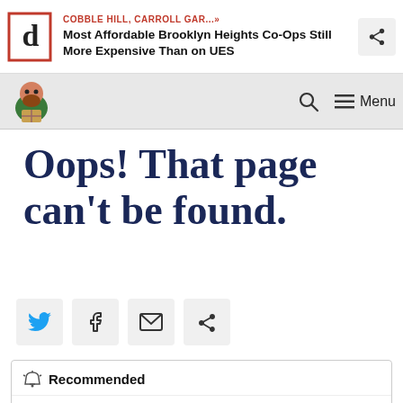COBBLE HILL, CARROLL GAR...» Most Affordable Brooklyn Heights Co-Ops Still More Expensive Than on UES
[Figure (screenshot): Navigation bar with mascot illustration, search icon, and menu]
Oops! That page can't be found.
[Figure (infographic): Social share buttons: Twitter, Facebook, Email, Share]
Recommended
CROWN HEIGHTS »
Apartments for $931 a Month Open at Crown Heights Homeless Shelter